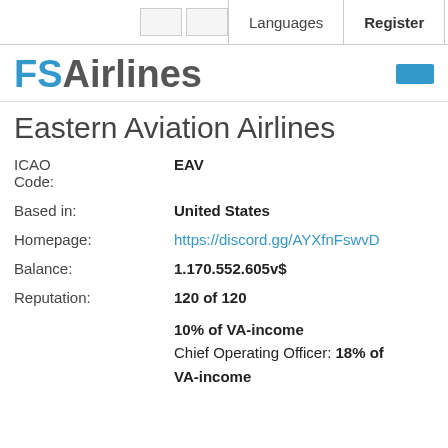Languages | Register | Login
FSAirlines
Eastern Aviation Airlines
ICAO Code: EAV
Based in: United States
Homepage: https://discord.gg/AYXfnFswvD
Balance: 1.170.552.605v$
Reputation: 120 of 120
10% of VA-income
Chief Operating Officer: 18% of VA-income